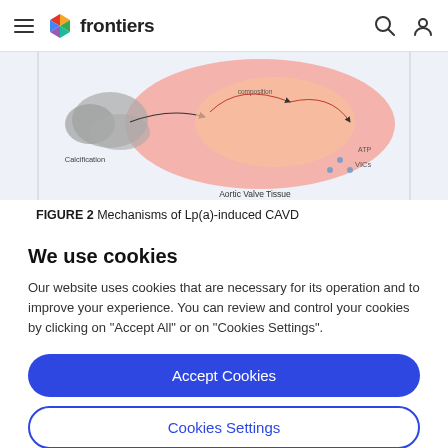frontiers
[Figure (schematic): Partial view of a scientific diagram showing Aortic Valve Tissue with calcification and VICs labeled, pink/salmon colored tissue illustration with arrows and labels]
FIGURE 2 Mechanisms of Lp(a)-induced CAVD
We use cookies
Our website uses cookies that are necessary for its operation and to improve your experience. You can review and control your cookies by clicking on "Accept All" or on "Cookies Settings".
Accept Cookies
Cookies Settings